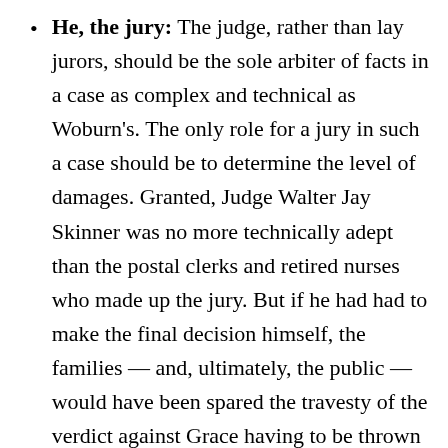He, the jury: The judge, rather than lay jurors, should be the sole arbiter of facts in a case as complex and technical as Woburn's. The only role for a jury in such a case should be to determine the level of damages. Granted, Judge Walter Jay Skinner was no more technically adept than the postal clerks and retired nurses who made up the jury. But if he had had to make the final decision himself, the families — and, ultimately, the public — would have been spared the travesty of the verdict against Grace having to be thrown out because the jurors didn't understand what they were doing.
Just the facts: Once a judge has ruled that a lawsuit meets some minimal standard for moving forward, the court itself, rather than the lawyers, should investigate the facts. Admittedly, this